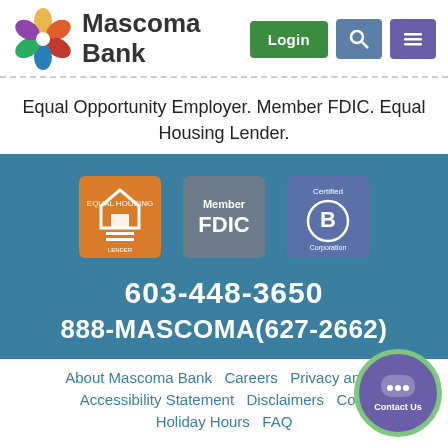[Figure (logo): Mascoma Bank logo with colorful flower/pinwheel icon and bold text 'Mascoma Bank']
[Figure (infographic): Navigation buttons: green Login button, blue search icon button, purple hamburger menu button]
Equal Opportunity Employer. Member FDIC. Equal Housing Lender.
[Figure (logo): Three badges side by side: orange Equal Housing Lender badge, gray Member FDIC badge, blue-gray Certified B Corporation badge]
603-448-3650
888-MASCOMA(627-2662)
About Mascoma Bank   Careers   Privacy and S   Accessibility Statement   Disclaimers   Cont   Holiday Hours   FAQ
[Figure (infographic): Purple circular Contact Us chat bubble button with green border]